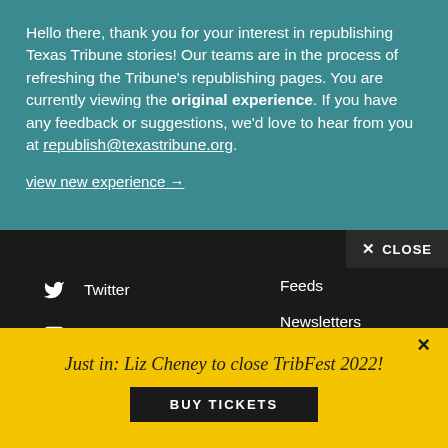Hello there, thank you for your interest in republishing Texas Tribune stories! Our teams are in the process of refreshing the Tribune's republishing pages. You are currently viewing the original experience. If you have any feedback or suggestions, we'd love to hear from you at republish@texastribune.org.
view new experience →
✕ CLOSE
Twitter
YouTube
Instagram
LinkedIn
Reddit
Feeds
Newsletters
Audio
Video
Just in: Liz Cheney to close TribFest 2022!
BUY TICKETS